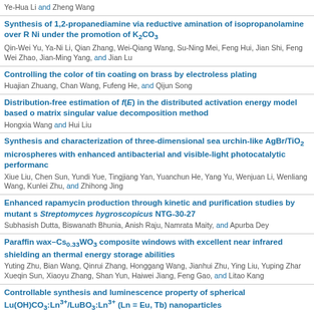Ye-Hua Li and Zheng Wang
Synthesis of 1,2-propanediamine via reductive amination of isopropanolamine over Ni under the promotion of K2CO3
Qin-Wei Yu, Ya-Ni Li, Qian Zhang, Wei-Qiang Wang, Su-Ning Mei, Feng Hui, Jian Shi, Feng Wei Zhao, Jian-Ming Yang, and Jian Lu
Controlling the color of tin coating on brass by electroless plating
Huajian Zhuang, Chan Wang, Fufeng He, and Qijun Song
Distribution-free estimation of f(E) in the distributed activation energy model based on matrix singular value decomposition method
Hongxia Wang and Hui Liu
Synthesis and characterization of three-dimensional sea urchin-like AgBr/TiO2 microspheres with enhanced antibacterial and visible-light photocatalytic performance
Xiue Liu, Chen Sun, Yundi Yue, Tingjiang Yan, Yuanchun He, Yang Yu, Wenjuan Li, Wenliang Wang, Kunlei Zhu, and Zhihong Jing
Enhanced rapamycin production through kinetic and purification studies by mutant Streptomyces hygroscopicus NTG-30-27
Subhasish Dutta, Biswanath Bhunia, Anish Raju, Namrata Maity, and Apurba Dey
Paraffin wax–Cs0.33WO3 composite windows with excellent near infrared shielding and thermal energy storage abilities
Yuting Zhu, Bian Wang, Qinrui Zhang, Honggang Wang, Jianhui Zhu, Ying Liu, Yuping Zhang, Xueqin Sun, Xiaoyu Zhang, Shan Yun, Haiwei Jiang, Feng Gao, and Litao Kang
Controllable synthesis and luminescence property of spherical Lu(OH)CO3:Ln3+/LuBO3:Ln3+ (Ln = Eu, Tb) nanoparticles
Li-hui Zhang, Yan-biao Zhou, Wei-li Li, Xu-yao Zhao, and Ya-bo Wang
Application of acid-promoted UiO-66-NH2 MOFs in the treatment of wastewater containing…